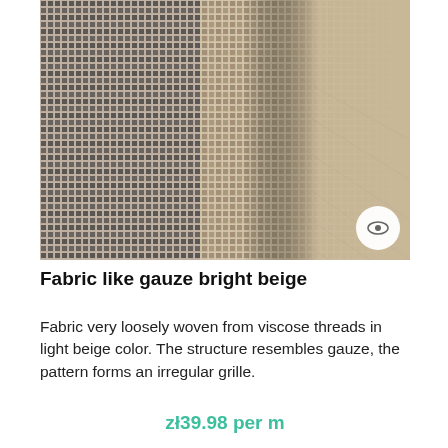[Figure (photo): Close-up photo of loosely woven fabric with a grid-like gauze structure in grey/dark tones on the left and beige/tan tones on the right, showing irregular grille weave pattern of viscose threads. A circular eye/zoom button is visible in the bottom right of the image.]
Fabric like gauze bright beige
Fabric very loosely woven from viscose threads in light beige color. The structure resembles gauze, the pattern forms an irregular grille.
zł39.98 per m